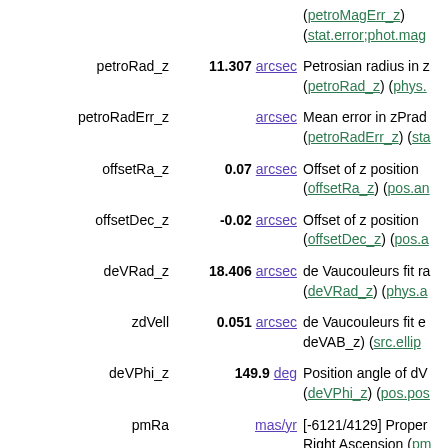| Name | Value | Description |
| --- | --- | --- |
|  |  | (petroMagErr_z) (stat.error;phot.mag |
| petroRad_z | 11.307 arcsec | Petrosian radius in z (petroRad_z) (phys. |
| petroRadErr_z | arcsec | Mean error in zPrad (petroRadErr_z) (sta |
| offsetRa_z | 0.07 arcsec | Offset of z position (offsetRa_z) (pos.an |
| offsetDec_z | -0.02 arcsec | Offset of z position (offsetDec_z) (pos.a |
| deVRad_z | 18.406 arcsec | de Vaucouleurs fit ra (deVRad_z) (phys.a |
| zdVell | 0.051 arcsec | de Vaucouleurs fit e deVAB_z) (src.ellip |
| deVPhi_z | 149.9 deg | Position angle of dV (deVPhi_z) (pos.pos |
| pmRa | mas/yr | [-6121/4129] Proper Right Ascension (pm (pos.pm;pos.eq.ra) |
| pmRaErr | mas/yr | Mean error on pmRa. (Note 8) (stat.error;pos.pm; |
| pmDec | mas/yr | [-4846/4437] Proper Declination ( |